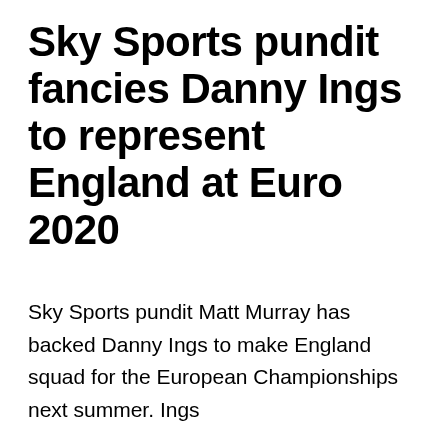Sky Sports pundit fancies Danny Ings to represent England at Euro 2020
Sky Sports pundit Matt Murray has backed Danny Ings to make England squad for the European Championships next summer. Ings has been one of the best players this